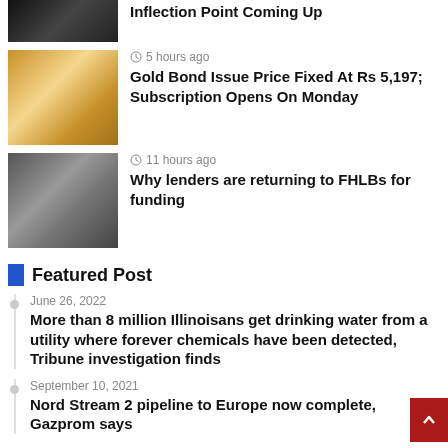[Figure (photo): Dark image partially visible at top]
Inflection Point Coming Up
[Figure (photo): Gold bars and coins image]
5 hours ago
Gold Bond Issue Price Fixed At Rs 5,197; Subscription Opens On Monday
[Figure (photo): Bank building with Citi logo]
11 hours ago
Why lenders are returning to FHLBs for funding
Featured Post
June 26, 2022
More than 8 million Illinoisans get drinking water from a utility where forever chemicals have been detected, Tribune investigation finds
September 10, 2021
Nord Stream 2 pipeline to Europe now complete, Gazprom says
July 5, 2021